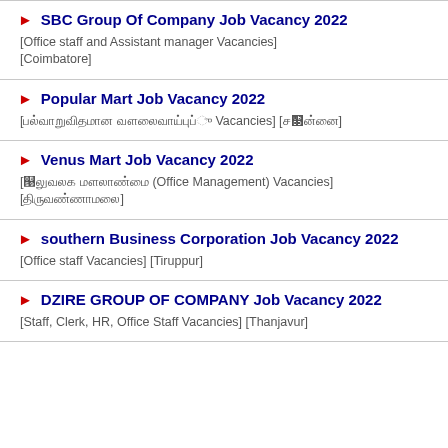► SBC Group Of Company Job Vacancy 2022
[Office staff and Assistant manager Vacancies]
[Coimbatore]
► Popular Mart Job Vacancy 2022
[பல்வேறுவிதமான வேலைவாய்ப்பு Vacancies] [சென்னை]
► Venus Mart Job Vacancy 2022
[அலுவலக மேலாண்மை (Office Management) Vacancies] [திருவண்ணாமலை]
► southern Business Corporation Job Vacancy 2022
[Office staff Vacancies] [Tiruppur]
► DZIRE GROUP OF COMPANY Job Vacancy 2022
[Staff, Clerk, HR, Office Staff Vacancies] [Thanjavur]